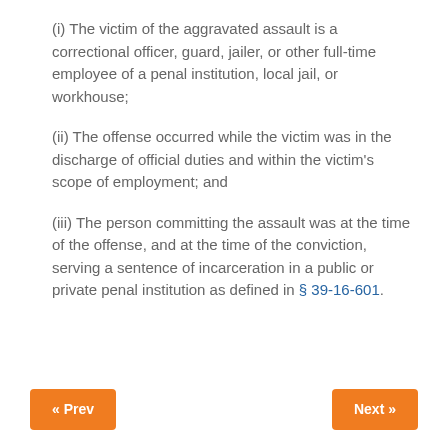(i)  The victim of the aggravated assault is a correctional officer, guard, jailer, or other full-time employee of a penal institution, local jail, or workhouse;
(ii)  The offense occurred while the victim was in the discharge of official duties and within the victim's scope of employment;  and
(iii)  The person committing the assault was at the time of the offense, and at the time of the conviction, serving a sentence of incarceration in a public or private penal institution as defined in § 39-16-601.